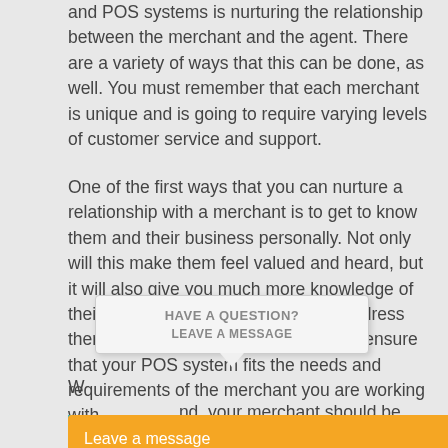and POS systems is nurturing the relationship between the merchant and the agent. There are a variety of ways that this can be done, as well. You must remember that each merchant is unique and is going to require varying levels of customer service and support.
One of the first ways that you can nurture a relationship with a merchant is to get to know them and their business personally. Not only will this make them feel valued and heard, but it will also give you much more knowledge of their areas of need so that you can address them most completely, earn trust, and ensure that your POS system fits the needs and requirements of the merchant you are working with.
W... nd, your merchant should be ke... d.
[Figure (screenshot): A tooltip/chat popup showing 'HAVE A QUESTION? LEAVE A MESSAGE' with an orange 'Leave a message' bar and a teal background at the bottom.]